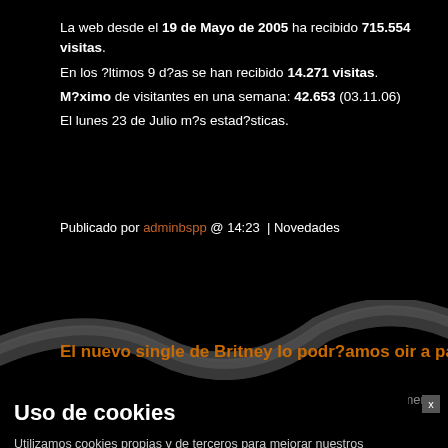La web desde el 19 de Mayo de 2005 ha recibido 715.554 visitas. En los ?ltimos 9 d?as se han recibido 14.271 visitas. M?ximo de visitantes en una semana: 42.653 (03.11.06) El lunes 23 de Julio m?s estad?sticas.
Publicado por adminbspp @ 14:23 | Novedades
El nuevo single de Britney lo podr?amos oir a partir del 12 de
Segun ?ChaoticOne?, un miembro de ?Pop Prodigy?, el primer single de... 2 de agosto. De hecho, una popular estacion de r... programacion la cancion ?And Then We Kise? y luego hablaron sobre l... gente empezo a llamar a la estacion radial preguntando cuando saldra... respondio: ?Estaremos estrenando el nuevo single de Britney el 12 de ag... para mas info!?
Uso de cookies
Utilizamos cookies propias y de terceros para mejorar nuestros servicios y mostrarle publicidad relacionada con sus preferencias mediante el análisis de sus hábitos de navegación.
Si continúa navegando, consideramos que acepta su uso. Puede obtener más información, o bien conocer cómo cambiar la configuración, en nuestra Política de cookies